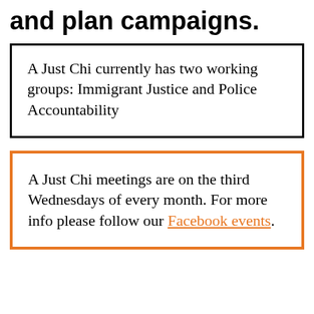and plan campaigns.
A Just Chi currently has two working groups: Immigrant Justice and Police Accountability
A Just Chi meetings are on the third Wednesdays of every month. For more info please follow our Facebook events.